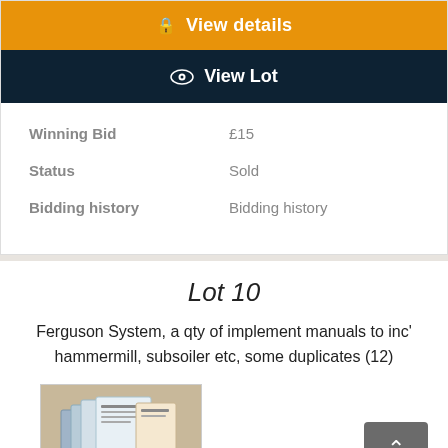View details
View Lot
| Winning Bid | £15 |
| Status | Sold |
| Bidding history | Bidding history |
Lot 10
Ferguson System, a qty of implement manuals to inc' hammermill, subsoiler etc, some duplicates (12)
[Figure (photo): Photo of Ferguson System implement manuals - booklets/pamphlets]